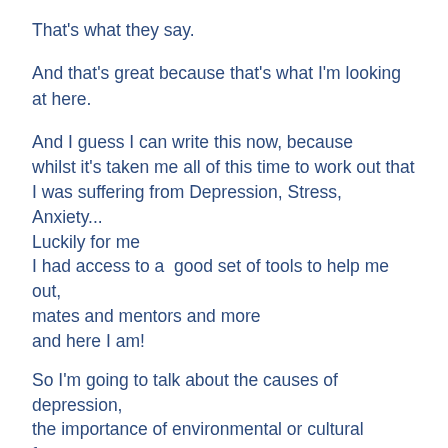That's what they say.
And that's great because that's what I'm looking at here.
And I guess I can write this now, because whilst it's taken me all of this time to work out that I was suffering from Depression, Stress, Anxiety... Luckily for me I had access to a  good set of tools to help me out, mates and mentors and more and here I am!
So I'm going to talk about the causes of depression, the importance of environmental or cultural factors, and about the way our grand narrative distracts us from seeing and dealing with the real causes.
Going to explain the dangers of mind hacking